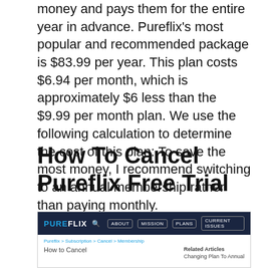money and pays them for the entire year in advance. Pureflix's most popular and recommended package is $83.99 per year. This plan costs $6.94 per month, which is approximately $6 less than the $9.99 per month plan. We use the following calculation to determine the cost of this plan: To save the most money, I recommend switching to an annual membership rather than paying monthly.
How To Cancel Pureflix Free Trial
[Figure (screenshot): Screenshot of the Pureflix website showing the navigation bar with logo, search icon, and menu items (ABOUT, MISSION, PLANS, CURRENT ISSUES), a breadcrumb trail (Pureflix > Subscription > Cancel > Membership), and a page heading 'How to Cancel' alongside a 'Related Articles' section with 'Changing Plan To Annual'.]